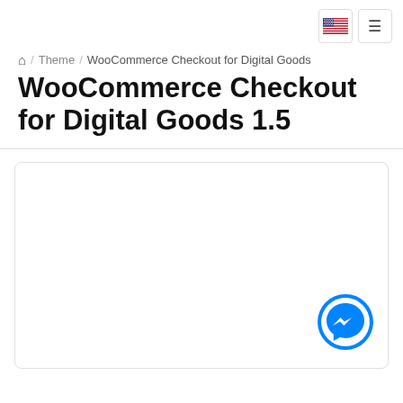[Figure (screenshot): Navigation bar with US flag icon and hamburger menu button]
🏠 / Theme / WooCommerce Checkout for Digital Goods
WooCommerce Checkout for Digital Goods 1.5
[Figure (other): White content card with rounded border and Messenger chat button in bottom-right corner]